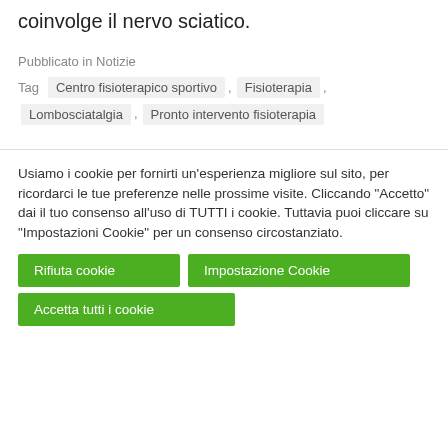coinvolge il nervo sciatico.
Pubblicato in Notizie
Tag  Centro fisioterapico sportivo ,  Fisioterapia ,  Lombosciatalgia ,  Pronto intervento fisioterapia
Usiamo i cookie per fornirti un'esperienza migliore sul sito, per ricordarci le tue preferenze nelle prossime visite. Cliccando “Accetto” dai il tuo consenso all'uso di TUTTI i cookie. Tuttavia puoi cliccare su "Impostazioni Cookie" per un consenso circostanziato.